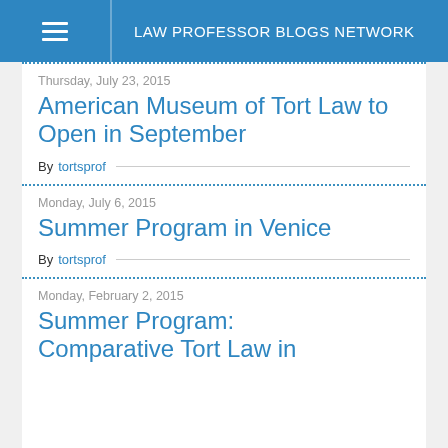LAW PROFESSOR BLOGS NETWORK
Thursday, July 23, 2015
American Museum of Tort Law to Open in September
By tortsprof
Monday, July 6, 2015
Summer Program in Venice
By tortsprof
Monday, February 2, 2015
Summer Program: Comparative Tort Law in